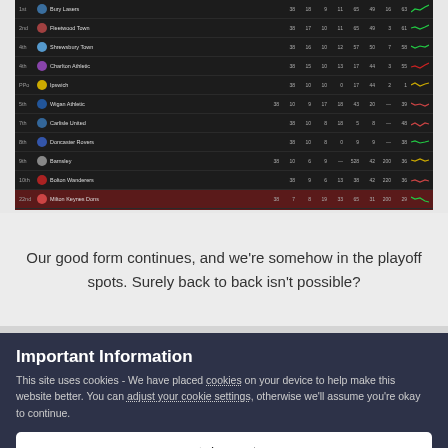[Figure (screenshot): A dark-themed football/soccer league table screenshot showing team standings with columns for position, team name, played, won, drawn, lost, goals for, goals against, goal difference, points, and form. Several rows are visible with one row highlighted in dark red.]
Our good form continues, and we're somehow in the playoff spots. Surely back to back isn't possible?
Important Information
This site uses cookies - We have placed cookies on your device to help make this website better. You can adjust your cookie settings, otherwise we'll assume you're okay to continue.
✓  I accept